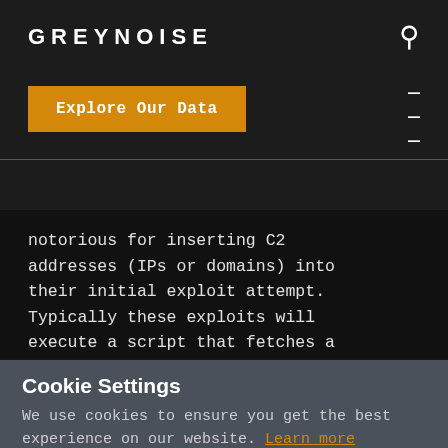GREYNOISE
Explore Our Data
notorious for inserting C2 addresses (IPs or domains) into their initial exploit attempt. Typically these exploits will execute a script that fetches a malicious payload from the C2
Cookie Settings
We use cookies to ensure you get the best experience on our website. Learn more
Got It